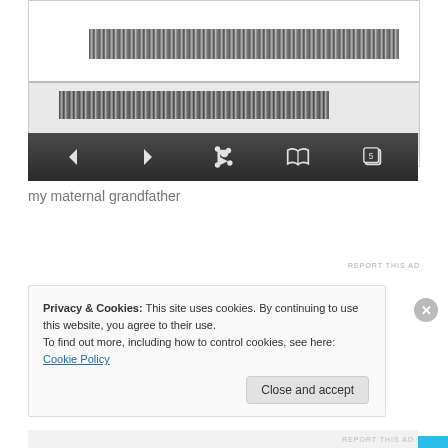[Figure (screenshot): Image viewer showing scanned document with grainy/noisy black and white horizontal bands, with navigation toolbar below containing back, forward, share, book, and copy (5) buttons]
my maternal grandfather
[Figure (screenshot): Advertisement banner with light blue background showing 'for life' text and DAY ONE branding]
REPORT THIS AD
Privacy & Cookies: This site uses cookies. By continuing to use this website, you agree to their use.
To find out more, including how to control cookies, see here: Cookie Policy
Close and accept